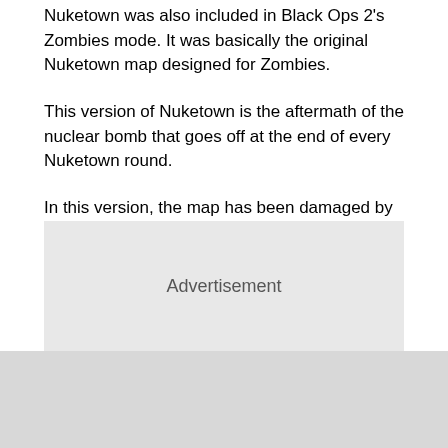Nuketown was also included in Black Ops 2's Zombies mode. It was basically the original Nuketown map designed for Zombies.
This version of Nuketown is the aftermath of the nuclear bomb that goes off at the end of every Nuketown round.
In this version, the map has been damaged by the Nuclear Bomb and smoke and ash blotting out the sun. Zombies spawn in all the usual ways but the Pack-A-Punch and Perk-A-Cola machines spawn after killing certain numbers of zombies.
[Figure (other): Advertisement placeholder box with light gray background and centered 'Advertisement' label text]